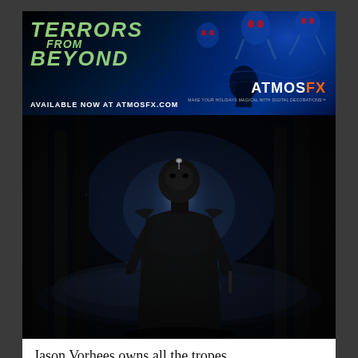[Figure (illustration): AtmosFX advertisement banner for 'Terrors From Beyond'. Dark blue background with glowing ghostly figures on the right side. Left side shows 'TERRORS FROM BEYOND' logo in green/teal lettering. Bottom left text reads 'AVAILABLE NOW AT ATMOSFX.COM'. AtmosFX logo appears on the lower right with orange FX text.]
[Figure (photo): Dark atmospheric photo of Jason Voorhees (hockey mask killer) standing in a misty dark forest. The figure is backlit with a slight glow around the mask area, wearing dark clothing and holding something at his side. Very moody, dark blue-grey tones.]
Jason Vorhees owns all the tropes.